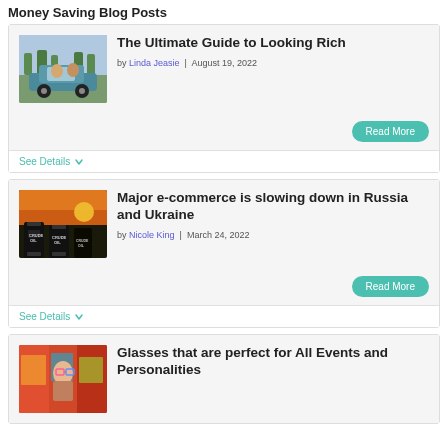Money Saving Blog Posts
[Figure (photo): Two people riding in a vintage convertible car]
The Ultimate Guide to Looking Rich
by Linda Jeasie | August 19, 2022
See Details
[Figure (photo): Crude oil barrels with sunset in background]
Major e-commerce is slowing down in Russia and Ukraine
by Nicole King | March 24, 2022
See Details
[Figure (photo): Person wearing colorful glasses at an event]
Glasses that are perfect for All Events and Personalities